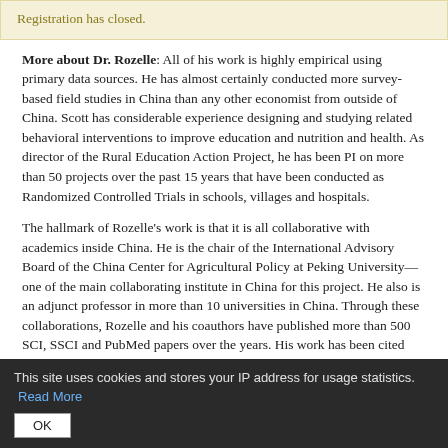Registration has closed.
More about Dr. Rozelle: All of his work is highly empirical using primary data sources. He has almost certainly conducted more survey-based field studies in China than any other economist from outside of China. Scott has considerable experience designing and studying related behavioral interventions to improve education and nutrition and health. As director of the Rural Education Action Project, he has been PI on more than 50 projects over the past 15 years that have been conducted as Randomized Controlled Trials in schools, villages and hospitals.
The hallmark of Rozelle's work is that it is all collaborative with academics inside China. He is the chair of the International Advisory Board of the China Center for Agricultural Policy at Peking University—one of the main collaborating institute in China for this project. He also is an adjunct professor in more than 10 universities in China. Through these collaborations, Rozelle and his coauthors have published more than 500 SCI, SSCI and PubMed papers over the years. His work has been cited more than 40,000 times. He is one of the top five published agricultural/development economists in the world.
In recognition of his long-standing work, Rozelle has been awarded a large
This site uses cookies and stores your IP address for usage statistics. Read More OK